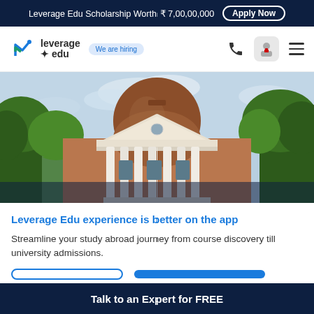Leverage Edu Scholarship Worth ₹ 7,00,00,000  Apply Now
[Figure (logo): Leverage Edu logo with 'We are hiring' badge]
[Figure (photo): University rotunda building with classical columns, dome, and trees — Leverage Edu hero banner image]
Leverage Edu experience is better on the app
Streamline your study abroad journey from course discovery till university admissions.
Talk to an Expert for FREE